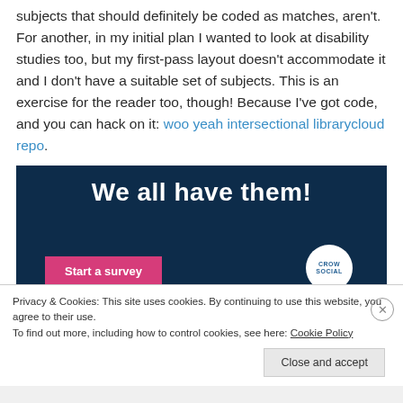subjects that should definitely be coded as matches, aren't. For another, in my initial plan I wanted to look at disability studies too, but my first-pass layout doesn't accommodate it and I don't have a suitable set of subjects. This is an exercise for the reader too, though! Because I've got code, and you can hack on it: woo yeah intersectional librarycloud repo.
[Figure (screenshot): Dark navy blue banner image with white bold text 'We all have them!' and a pink 'Start a survey' button at bottom left and a white circular logo at bottom right with 'CROWD SOCIAL' text.]
Privacy & Cookies: This site uses cookies. By continuing to use this website, you agree to their use.
To find out more, including how to control cookies, see here: Cookie Policy
Close and accept